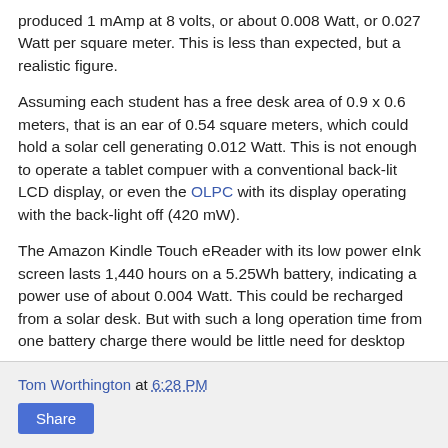produced 1 mAmp at 8 volts, or about 0.008 Watt, or 0.027 Watt per square meter. This is less than expected, but a realistic figure.
Assuming each student has a free desk area of 0.9 x 0.6 meters, that is an ear of 0.54 square meters, which could hold a solar cell generating 0.012 Watt. This is not enough to operate a tablet compuer with a conventional back-lit LCD display, or even the OLPC with its display operating with the back-light off (420 mW).
The Amazon Kindle Touch eReader with its low power eInk screen lasts 1,440 hours on a 5.25Wh battery, indicating a power use of about 0.004 Watt. This could be recharged from a solar desk. But with such a long operation time from one battery charge there would be little need for desktop power.
Tom Worthington at 6:28 PM  Share